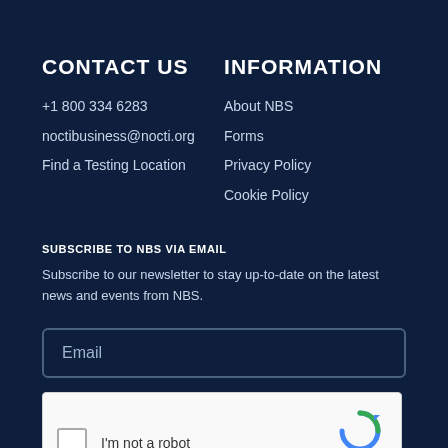CONTACT US
+1 800 334 6283
noctibusiness@nocti.org
Find a Testing Location
INFORMATION
About NBS
Forms
Privacy Policy
Cookie Policy
SUBSCRIBE TO NBS VIA EMAIL
Subscribe to our newsletter to stay up-to-date on the latest news and events from NBS.
Email
[Figure (other): reCAPTCHA widget with checkbox labeled 'I'm not a robot' and reCAPTCHA logo with Privacy and Terms links]